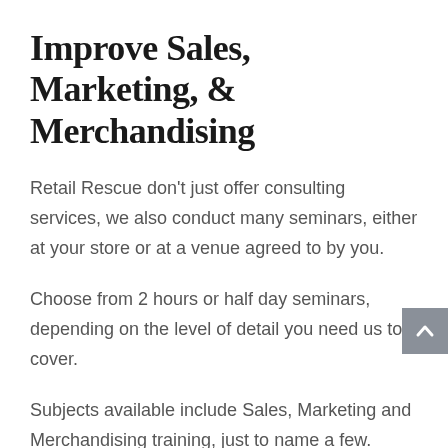Improve Sales, Marketing, & Merchandising
Retail Rescue don't just offer consulting services, we also conduct many seminars, either at your store or at a venue agreed to by you.
Choose from 2 hours or half day seminars, depending on the level of detail you need us to cover.
Subjects available include Sales, Marketing and Merchandising training, just to name a few.
For a full list of subjects (there are over 20), go